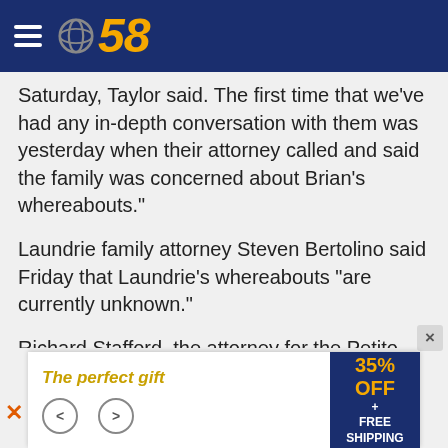CBS 58
Saturday,  Taylor said.  The first time that we've had any in-depth conversation with them was yesterday when their attorney called and said the family was concerned about Brian's whereabouts."
Laundrie family attorney Steven Bertolino said Friday that Laundrie's whereabouts "are currently unknown."
Richard Stafford, the attorney for the Petito family, said in a brief statement sent to CNN, "All of Gabby's family want the world to know that Brian is not missing, he is hiding. Gabby is missing."
Search for Petito is now a week old
[Figure (other): Advertisement banner: 'The perfect gift' with navigation arrows and '35% OFF + FREE SHIPPING' on blue background]